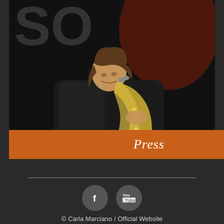[Figure (photo): A woman playing saxophone on a dark stage, visible text 'SOL' in background, dark and reddish lighting, musician wearing a black jacket]
Press
[Figure (illustration): Social media icons: Facebook (f) and YouTube circle buttons in gray]
© Carla Marciano / Official Website